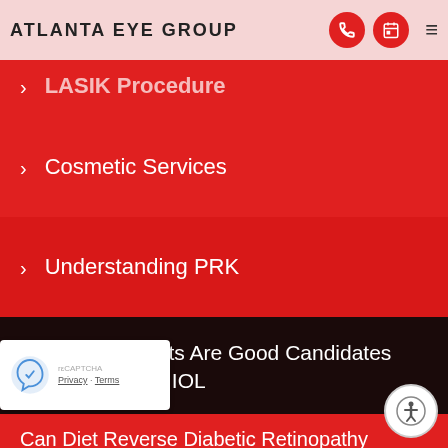ATLANTA EYE GROUP
> LASIK Procedure
> Cosmetic Services
> Understanding PRK
> Which Patients Are Good Candidates For Premium IOL
Can Diet Reverse Diabetic Retinopathy